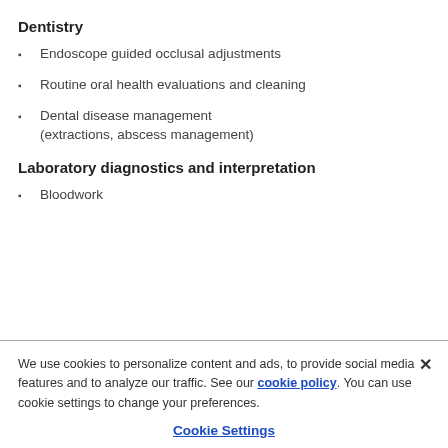Dentistry
Endoscope guided occlusal adjustments
Routine oral health evaluations and cleaning
Dental disease management (extractions, abscess management)
Laboratory diagnostics and interpretation
Bloodwork
We use cookies to personalize content and ads, to provide social media features and to analyze our traffic. See our cookie policy. You can use cookie settings to change your preferences.
Cookie Settings